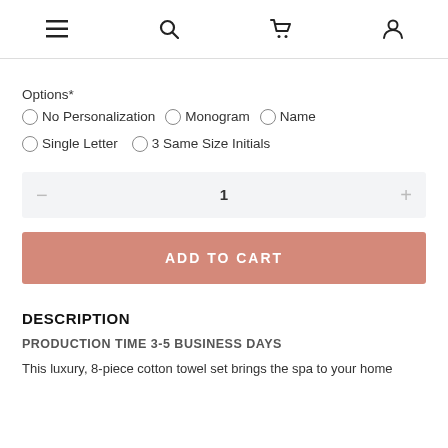Navigation bar with menu, search, cart, and account icons
Options*
No Personalization
Monogram
Name
Single Letter
3 Same Size Initials
1
ADD TO CART
DESCRIPTION
PRODUCTION TIME 3-5 BUSINESS DAYS
This luxury, 8-piece cotton towel set brings the spa to your home